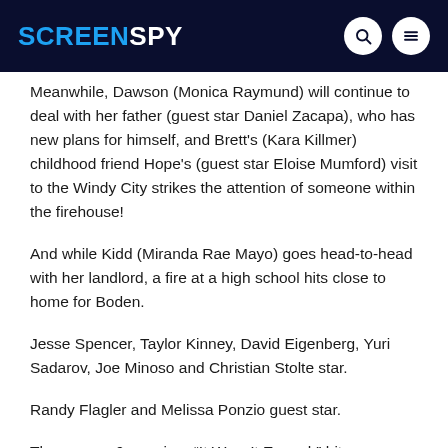SCREENSPY
Meanwhile, Dawson (Monica Raymund) will continue to deal with her father (guest star Daniel Zacapa), who has new plans for himself, and Brett's (Kara Killmer) childhood friend Hope's (guest star Eloise Mumford) visit to the Windy City strikes the attention of someone within the firehouse!
And while Kidd (Miranda Rae Mayo) goes head-to-head with her landlord, a fire at a high school hits close to home for Boden.
Jesse Spencer, Taylor Kinney, David Eigenberg, Yuri Sadarov, Joe Minoso and Christian Stolte star.
Randy Flagler and Melissa Ponzio guest star.
The season 6 premiere “It Wasn’t Enough” hits screens on Thursday, September 28 (10:00-11:00 pm) on NBC. To see